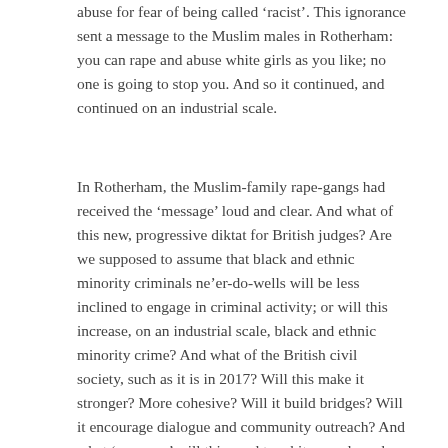abuse for fear of being called 'racist'. This ignorance sent a message to the Muslim males in Rotherham: you can rape and abuse white girls as you like; no one is going to stop you. And so it continued, and continued on an industrial scale.
In Rotherham, the Muslim-family rape-gangs had received the 'message' loud and clear. And what of this new, progressive diktat for British judges? Are we supposed to assume that black and ethnic minority criminals ne'er-do-wells will be less inclined to engage in criminal activity; or will this increase, on an industrial scale, black and ethnic minority crime? And what of the British civil society, such as it is in 2017? Will this make it stronger? More cohesive? Will it build bridges? Will it encourage dialogue and community outreach? And what 'message' will this send to white people and ethnic-British when they find themselves ensnared into the judicial system? Their same crimes, even when personal circumstances are similar, might receive substantially more punitive sentences. Hows